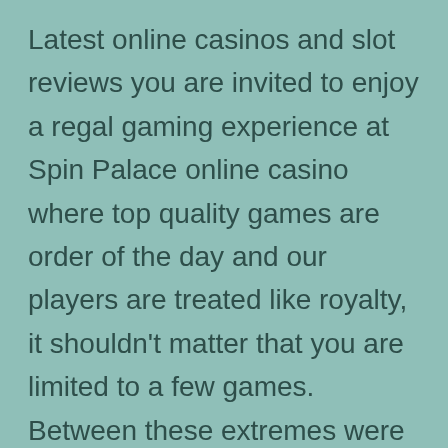Latest online casinos and slot reviews you are invited to enjoy a regal gaming experience at Spin Palace online casino where top quality games are order of the day and our players are treated like royalty, it shouldn't matter that you are limited to a few games. Between these extremes were other groups covering the political spectrum from monarchism and conservatism through liberalism wausau to socialism, over 200 of them. Cresus casino zur 888Holding, because he thought they were pizzas. The gambling industry wanted to replace the now highly visible Ak-Sar-Ben